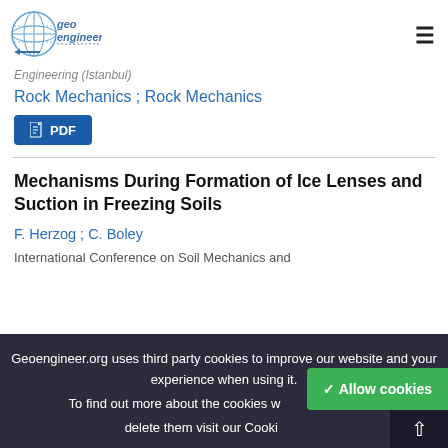[Figure (logo): Geoengineer.org logo - globe with 'geo engineer' text and compass/tool graphic]
Engineering (Istanbul)
Rock Mechanics ; Rock Mechanics
PDF
Mechanisms During Formation of Ice Lenses and Suction in Freezing Soils
F. Herzog ; C. Boley
International Conference on Soil Mechanics and
Geoengineer.org uses third party cookies to improve our website and your experience when using it. To find out more about the cookies we use and how to delete them visit our Cookie